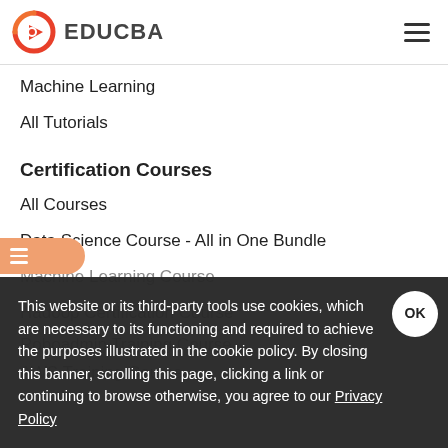EDUCBA
Machine Learning
All Tutorials
Certification Courses
All Courses
Data Science Course - All in One Bundle
Machine Learning Course
Hadoop Certification Course
Roboadmin Training Course
AWS Training Course
This website or its third-party tools use cookies, which are necessary to its functioning and required to achieve the purposes illustrated in the cookie policy. By closing this banner, scrolling this page, clicking a link or continuing to browse otherwise, you agree to our Privacy Policy